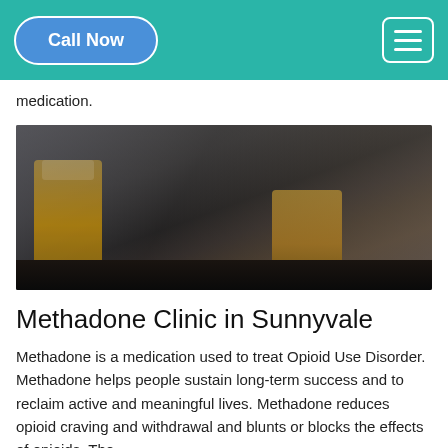Call Now | Navigation Menu
medication.
[Figure (photo): A man with his head down on a dark table, holding a glass of whiskey in one hand, with another full glass of whiskey nearby. The scene depicts alcohol intoxication or distress.]
Methadone Clinic in Sunnyvale
Methadone is a medication used to treat Opioid Use Disorder. Methadone helps people sustain long-term success and to reclaim active and meaningful lives. Methadone reduces opioid craving and withdrawal and blunts or blocks the effects of opioids. The